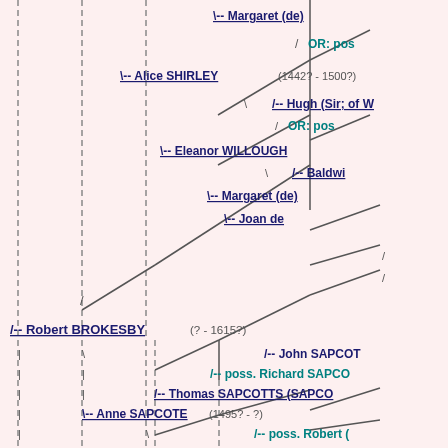[Figure (other): Genealogical pedigree/family tree chart showing ancestors of Robert BROKESBY (?-1615?) and Anne SAPCOTE (1495?-?), with connecting lines (solid and dashed) indicating relationships. Names shown include Margaret (de), Alice SHIRLEY (1442?-1500?), Hugh (Sir; of W...), Eleanor WILLOUGH..., Baldwin..., Margaret (de), Joan de..., Robert BROKESBY (?-1615?), John SAPCOT..., poss. Richard SAPCO..., Thomas SAPCOTTS (SAPCO...), Anne SAPCOTE (1495?-?), poss. Robert (...), John (Sir) FRAUNCE..., poss. Isabel de..., or: poss., Isabell FRANCIS. OR: poss. annotations appear in teal/green color.]